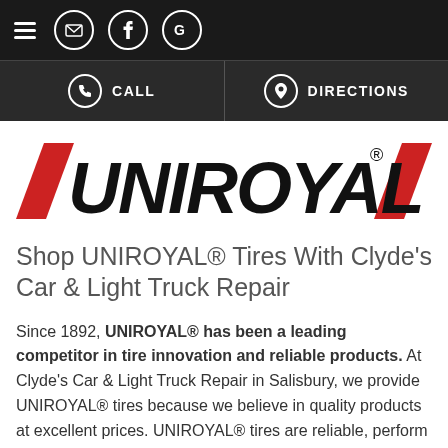Navigation bar with hamburger menu, email, Facebook, and Google icons
CALL | DIRECTIONS
[Figure (logo): UNIROYAL logo with red diagonal slashes on left and right sides and bold black italic text]
Shop UNIROYAL® Tires With Clyde's Car & Light Truck Repair
Since 1892, UNIROYAL® has been a leading competitor in tire innovation and reliable products. At Clyde's Car & Light Truck Repair in Salisbury, we provide UNIROYAL® tires because we believe in quality products at excellent prices. UNIROYAL® tires are reliable, perform fantastically, and are available for any application, no matter what you're looking